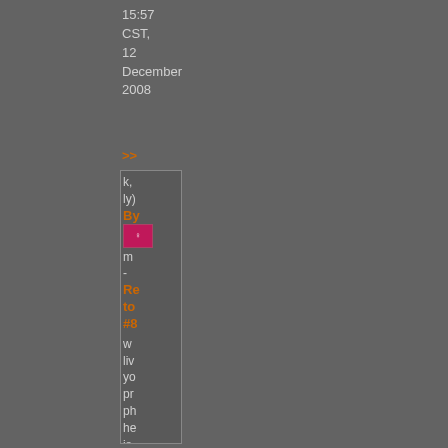15:57 CST, 12 December 2008
>>
k, ly) By [avatar] m - Re to #8 w li yo pr ph he is co yo ne to ro th ha m